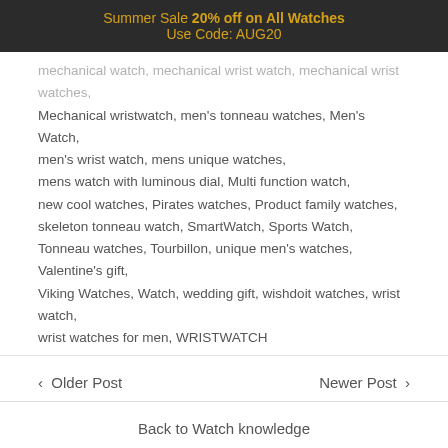Summer Sale 20% off on All Watches
Use Code: AUG20
mechanical watch, mechanical wrist watch, mechanical wrist watches, Mechanical wristwatch, men's tonneau watches, Men's Watch, men's wrist watch, mens unique watches, mens watch with luminous dial, Multi function watch, new cool watches, Pirates watches, Product family watches, skeleton tonneau watch, SmartWatch, Sports Watch, Tonneau watches, Tourbillon, unique men's watches, Valentine's gift, Viking Watches, Watch, wedding gift, wishdoit watches, wrist watch, wrist watches for men, WRISTWATCH
< Older Post
Newer Post >
Back to Watch knowledge
LEAVE A COMMENT
Please note: comments must be approved before they are published.
Name